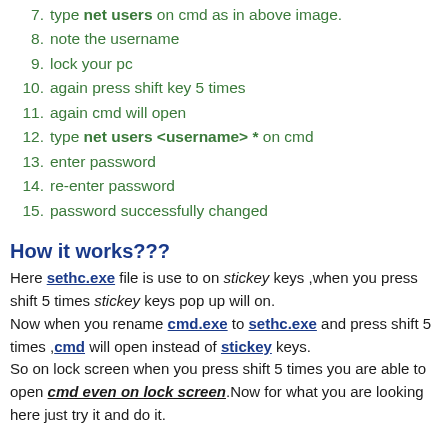7. type net users on cmd as in above image.
8. note the username
9. lock your pc
10. again press shift key 5 times
11. again cmd will open
12. type net users <username> * on cmd
13. enter password
14. re-enter password
15. password successfully changed
How it works???
Here sethc.exe file is use to on stickey keys ,when you press shift 5 times stickey keys pop up will on.
Now when you rename cmd.exe to sethc.exe and press shift 5 times ,cmd will open instead of stickey keys.
So on lock screen when you press shift 5 times you are able to open cmd even on lock screen.Now for what you are looking here just try it and do it.